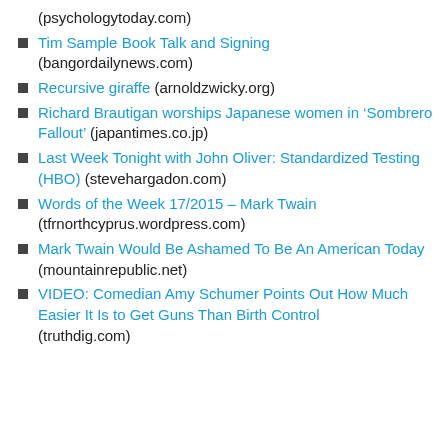(psychologytoday.com)
Tim Sample Book Talk and Signing (bangordailynews.com)
Recursive giraffe (arnoldzwicky.org)
Richard Brautigan worships Japanese women in ‘Sombrero Fallout’ (japantimes.co.jp)
Last Week Tonight with John Oliver: Standardized Testing (HBO) (stevehargadon.com)
Words of the Week 17/2015 – Mark Twain (tfrnorthcyprus.wordpress.com)
Mark Twain Would Be Ashamed To Be An American Today (mountainrepublic.net)
VIDEO: Comedian Amy Schumer Points Out How Much Easier It Is to Get Guns Than Birth Control (truthdig.com)